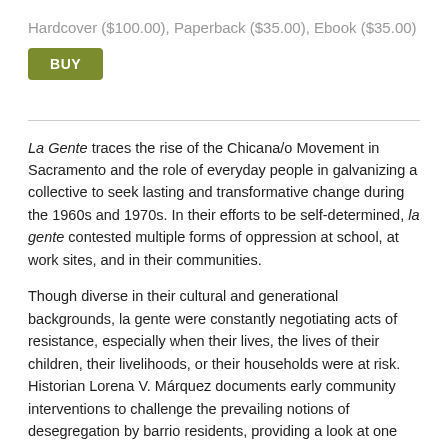Hardcover ($100.00), Paperback ($35.00), Ebook ($35.00)
BUY
La Gente traces the rise of the Chicana/o Movement in Sacramento and the role of everyday people in galvanizing a collective to seek lasting and transformative change during the 1960s and 1970s. In their efforts to be self-determined, la gente contested multiple forms of oppression at school, at work sites, and in their communities.
Though diverse in their cultural and generational backgrounds, la gente were constantly negotiating acts of resistance, especially when their lives, the lives of their children, their livelihoods, or their households were at risk. Historian Lorena V. Márquez documents early community interventions to challenge the prevailing notions of desegregation by barrio residents, providing a look at one